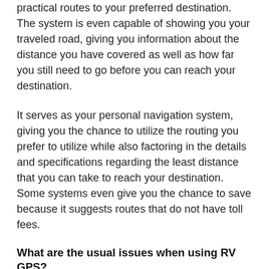practical routes to your preferred destination. The system is even capable of showing you your traveled road, giving you information about the distance you have covered as well as how far you still need to go before you can reach your destination.
It serves as your personal navigation system, giving you the chance to utilize the routing you prefer to utilize while also factoring in the details and specifications regarding the least distance that you can take to reach your destination. Some systems even give you the chance to save because it suggests routes that do not have toll fees.
What are the usual issues when using RV GPS?
Despite the usefulness of the RV GPS system, there are certain instances when it causes some problems. One